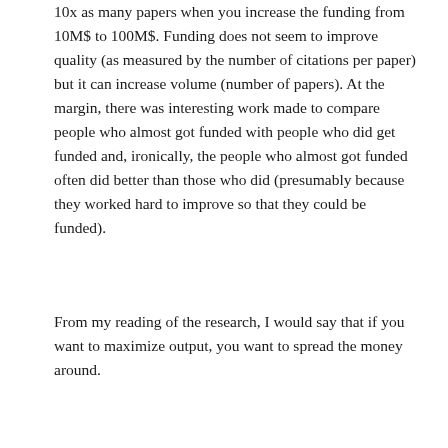10x as many papers when you increase the funding from 10M$ to 100M$. Funding does not seem to improve quality (as measured by the number of citations per paper) but it can increase volume (number of papers). At the margin, there was interesting work made to compare people who almost got funded with people who did get funded and, ironically, the people who almost got funded often did better than those who did (presumably because they worked hard to improve so that they could be funded).
From my reading of the research, I would say that if you want to maximize output, you want to spread the money around.